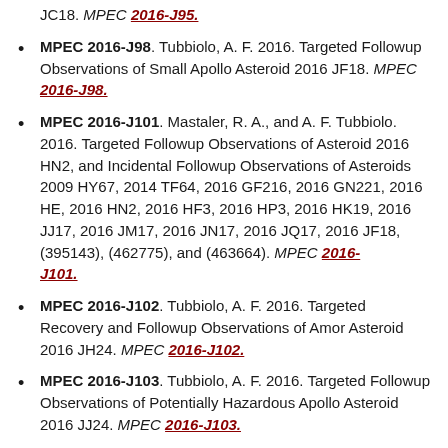JC18. MPEC 2016-J95.
MPEC 2016-J98. Tubbiolo, A. F. 2016. Targeted Followup Observations of Small Apollo Asteroid 2016 JF18. MPEC 2016-J98.
MPEC 2016-J101. Mastaler, R. A., and A. F. Tubbiolo. 2016. Targeted Followup Observations of Asteroid 2016 HN2, and Incidental Followup Observations of Asteroids 2009 HY67, 2014 TF64, 2016 GF216, 2016 GN221, 2016 HE, 2016 HN2, 2016 HF3, 2016 HP3, 2016 HK19, 2016 JJ17, 2016 JM17, 2016 JN17, 2016 JQ17, 2016 JF18, (395143), (462775), and (463664). MPEC 2016-J101.
MPEC 2016-J102. Tubbiolo, A. F. 2016. Targeted Recovery and Followup Observations of Amor Asteroid 2016 JH24. MPEC 2016-J102.
MPEC 2016-J103. Tubbiolo, A. F. 2016. Targeted Followup Observations of Potentially Hazardous Apollo Asteroid 2016 JJ24. MPEC 2016-J103.
MPEC 2016-J104. Tubbiolo, A. F. 2016. Targeted